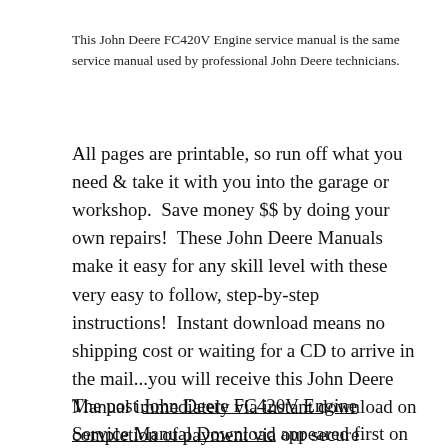This John Deere FC420V Engine service manual is the same service manual used by professional John Deere technicians.
All pages are printable, so run off what you need & take it with you into the garage or workshop.  Save money $$ by doing your own repairs!  These John Deere Manuals make it easy for any skill level with these very easy to follow, step-by-step instructions!  Instant download means no shipping cost or waiting for a CD to arrive in the mail...you will receive this John Deere Manual immediately via instant download on completion of payment via our secure payment processor. We accept all major credit/debit cards/paypal.
The post John Deere FC420V Engine Service Manual Download appeared first on John Deere Tractors.